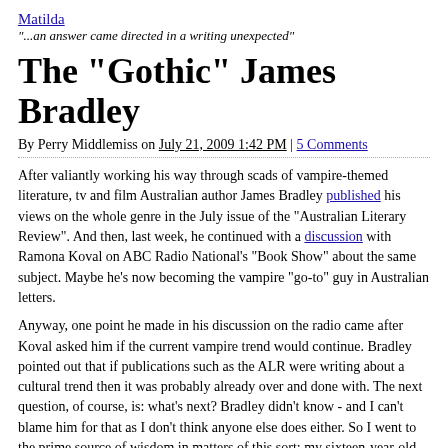Matilda
"...an answer came directed in a writing unexpected"
The "Gothic" James Bradley
By Perry Middlemiss on July 21, 2009 1:42 PM | 5 Comments
After valiantly working his way through scads of vampire-themed literature, tv and film Australian author James Bradley published his views on the whole genre in the July issue of the "Australian Literary Review". And then, last week, he continued with a discussion with Ramona Koval on ABC Radio National's "Book Show" about the same subject. Maybe he's now becoming the vampire "go-to" guy in Australian letters.
Anyway, one point he made in his discussion on the radio came after Koval asked him if the current vampire trend would continue. Bradley pointed out that if publications such as the ALR were writing about a cultural trend then it was probably already over and done with. The next question, of course, is: what's next? Bradley didn't know - and I can't blame him for that as I don't think anyone else does either. So I went to the prime source of wisdom in matters of this sort: my sixteen-year-old daughter. She just